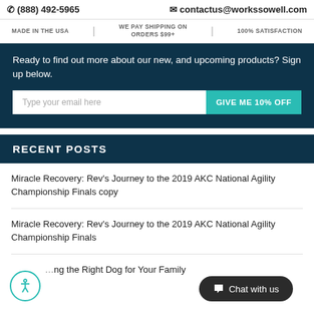☎ (888) 492-5965   ✉ contactus@workssowell.com
MADE IN THE USA | WE PAY SHIPPING ON ORDERS $99+ | 100% SATISFACTION
Ready to find out more about our new, and upcoming products? Sign up below.
Type your email here  [GIVE ME 10% OFF]
RECENT POSTS
Miracle Recovery: Rev's Journey to the 2019 AKC National Agility Championship Finals copy
Miracle Recovery: Rev's Journey to the 2019 AKC National Agility Championship Finals
…ing the Right Dog for Your Family